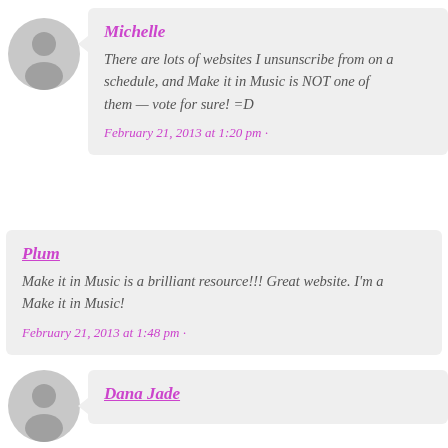Michelle
There are lots of websites I unsunscribe from on a schedule, and Make it in Music is NOT one of them — vote for sure! =D
February 21, 2013 at 1:20 pm ·
Plum
Make it in Music is a brilliant resource!!! Great website. I'm a Make it in Music!
February 21, 2013 at 1:48 pm ·
Dana Jade